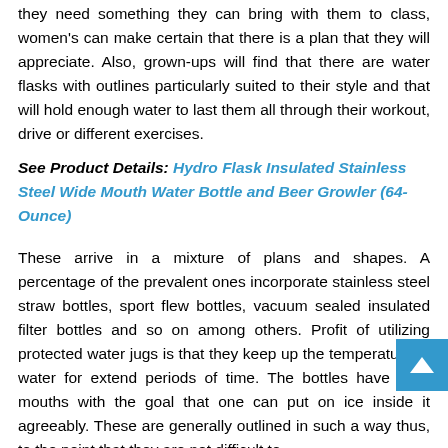they need something they can bring with them to class, women's can make certain that there is a plan that they will appreciate. Also, grown-ups will find that there are water flasks with outlines particularly suited to their style and that will hold enough water to last them all through their workout, drive or different exercises.
See Product Details: Hydro Flask Insulated Stainless Steel Wide Mouth Water Bottle and Beer Growler (64-Ounce)
These arrive in a mixture of plans and shapes. A percentage of the prevalent ones incorporate stainless steel straw bottles, sport flew bottles, vacuum sealed insulated filter bottles and so on among others. Profit of utilizing protected water jugs is that they keep up the temperature of water for extend periods of time. The bottles have wide mouths with the goal that one can put on ice inside it agreeably. These are generally outlined in such a way thus, to the point that they are not difficult to